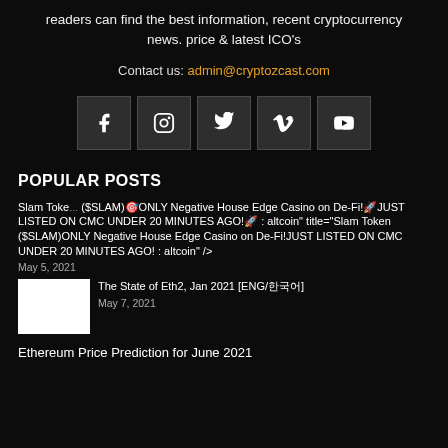readers can find the best information, recent cryptocurrency news. price & latest ICO's
Contact us: admin@cryptozcast.com
[Figure (infographic): Row of 5 social media icons: Facebook, Instagram, Twitter, Vimeo, YouTube]
POPULAR POSTS
Slam Token ($SLAM)🎯ONLY Negative House Edge Casino on De-Fi!🚀JUST LISTED ON CMC UNDER 20 MINUTES AGO!🚀 : altcoin" title="Slam Token ($SLAM)ONLY Negative House Edge Casino on De-Fi!JUST LISTED ON CMC UNDER 20 MINUTES AGO! : altcoin" />  May 5, 2021
The State of Eth2, Jan 2021 [ENG/한국어]  May 7, 2021
Ethereum Price Prediction for June 2021